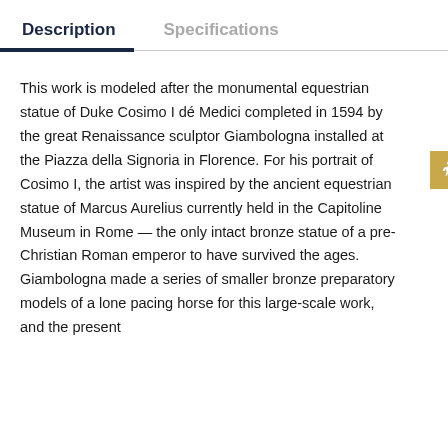Description | Specifications
This work is modeled after the monumental equestrian statue of Duke Cosimo I dé Medici completed in 1594 by the great Renaissance sculptor Giambologna installed at the Piazza della Signoria in Florence. For his portrait of Cosimo I, the artist was inspired by the ancient equestrian statue of Marcus Aurelius currently held in the Capitoline Museum in Rome — the only intact bronze statue of a pre-Christian Roman emperor to have survived the ages. Giambologna made a series of smaller bronze preparatory models of a lone pacing horse for this large-scale work, and the present